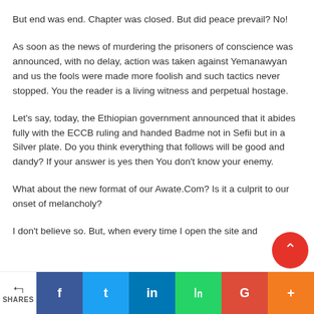But end was end. Chapter was closed. But did peace prevail? No!
As soon as the news of murdering the prisoners of conscience was announced, with no delay, action was taken against Yemanawyan and us the fools were made more foolish and such tactics never stopped. You the reader is a living witness and perpetual hostage.
Let's say, today, the Ethiopian government announced that it abides fully with the ECCB ruling and handed Badme not in Sefii but in a Silver plate. Do you think everything that follows will be good and dandy? If your answer is yes then You don't know your enemy.
What about the new format of our Awate.Com? Is it a culprit to our onset of melancholy?
I don't believe so. But, when every time I open the site and
SHARES | Facebook | Twitter | LinkedIn | WhatsApp | Google | More